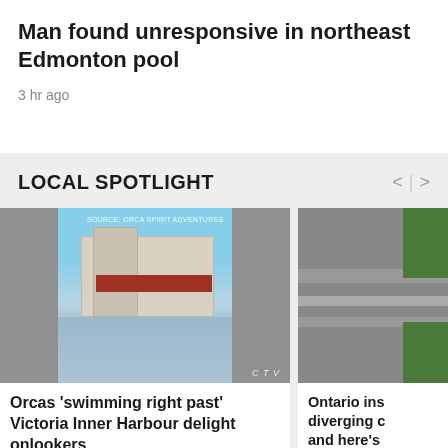Man found unresponsive in northeast Edmonton pool
3 hr ago
LOCAL SPOTLIGHT
[Figure (photo): Waterfront scene showing buildings with red roofs reflected in water, with blurred grey areas on sides. Source: ORCA SPIRIT ADVENTURES. CTV watermark visible.]
[Figure (photo): Aerial view of a highway or road intersection with green areas and trees on sides, partial view cropped on right edge.]
Orcas 'swimming right past' Victoria Inner Harbour delight onlookers
Ontario ins diverging c and here's